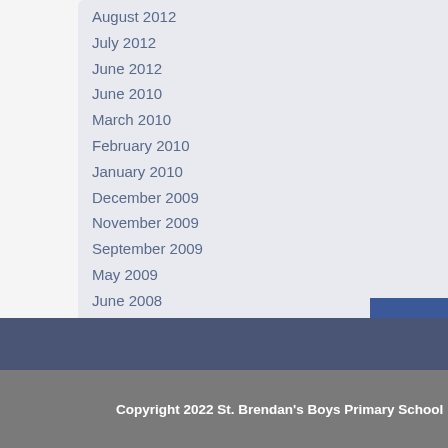August 2012
July 2012
June 2012
June 2010
March 2010
February 2010
January 2010
December 2009
November 2009
September 2009
May 2009
June 2008
March 2008
December 2007
July 2007
Visitors
234967 8
Copyright 2022 St. Brendan's Boys Primary School